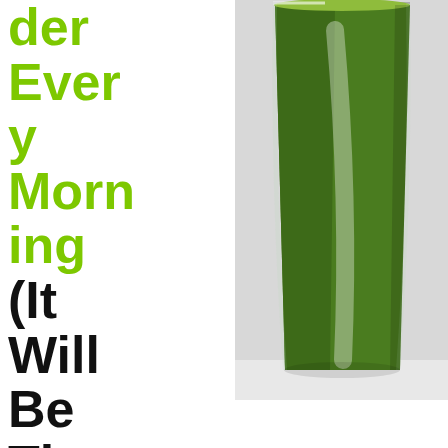der Every Morning (It Will Be The Best Decision You Ever Make!)
[Figure (photo): A tall glass filled with dark green juice or smoothie, photographed close-up against a light background]